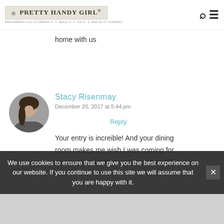PRETTY HANDY GIRL® — EMPOWERING YOU TO CREATE IT ✦ BUILD IT ✦ FIX IT ✦ AND DO IT YOURSELF
home with us
Reply
Stacy Risenmay
December 20, 2017 at 5:44 pm
Your entry is increible! And your dining room makes me wish I was coming for dinner. Your whole home is so beautiful
We use cookies to ensure that we give you the best experience on our website. If you continue to use this site we will assume that you are happy with it.